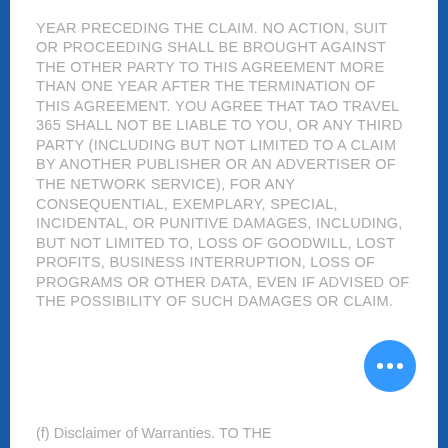YEAR PRECEDING THE CLAIM. NO ACTION, SUIT OR PROCEEDING SHALL BE BROUGHT AGAINST THE OTHER PARTY TO THIS AGREEMENT MORE THAN ONE YEAR AFTER THE TERMINATION OF THIS AGREEMENT. YOU AGREE THAT TAO TRAVEL 365 SHALL NOT BE LIABLE TO YOU, OR ANY THIRD PARTY (INCLUDING BUT NOT LIMITED TO A CLAIM BY ANOTHER PUBLISHER OR AN ADVERTISER OF THE NETWORK SERVICE), FOR ANY CONSEQUENTIAL, EXEMPLARY, SPECIAL, INCIDENTAL, OR PUNITIVE DAMAGES, INCLUDING, BUT NOT LIMITED TO, LOSS OF GOODWILL, LOST PROFITS, BUSINESS INTERRUPTION, LOSS OF PROGRAMS OR OTHER DATA, EVEN IF ADVISED OF THE POSSIBILITY OF SUCH DAMAGES OR CLAIM.
(f) Disclaimer of Warranties. TO THE